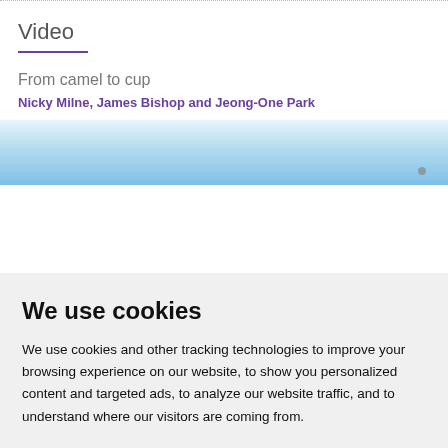Video
From camel to cup
Nicky Milne, James Bishop and Jeong-One Park
[Figure (photo): Sky/outdoor scene, light blue gradient background with a small dot or object visible at bottom right]
We use cookies
We use cookies and other tracking technologies to improve your browsing experience on our website, to show you personalized content and targeted ads, to analyze our website traffic, and to understand where our visitors are coming from.